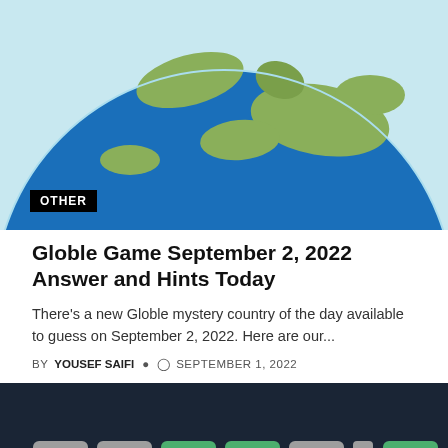[Figure (photo): Blue globe on light blue background with 'OTHER' label tag in bottom left corner]
Globle Game September 2, 2022 Answer and Hints Today
There's a new Globle mystery country of the day available to guess on September 2, 2022. Here are our...
BY YOUSEF SAIFI  © SEPTEMBER 1, 2022
[Figure (screenshot): Quordle game screenshot showing dark background with colorful letter tiles spelling QUORDLE with green, yellow, and gray colors and text 'Put your skills to the test!']